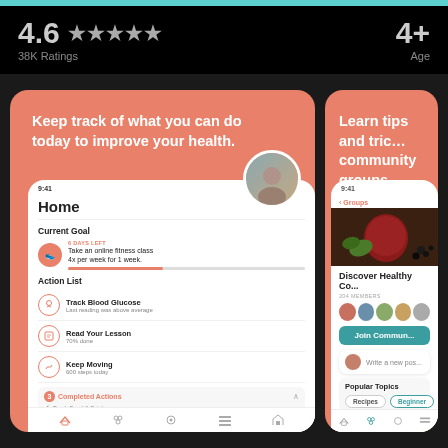4.6 ★★★★★ 38K Ratings | 4+ Age
[Figure (screenshot): Mobile app screenshot showing Home screen with Current Goal (Take an online fitness class 4x per week for 1 week, 6 days left) and Action List (Track Blood Glucose - last reading was above average, Read Your Lesson - 70% done, Keep Moving - 600 steps today) and Completed Actions (Track Food & Drinks, Take quiz). Headline: Keep track of what you can do today to improve your health.]
[Figure (screenshot): Mobile app screenshot showing Groups screen with Discover Healthy Community, 204 members, Join Community button, Write a new post area, and Popular Topics with Recipes and Beginner pills. Headline: Learn tips and tricks from community groups.]